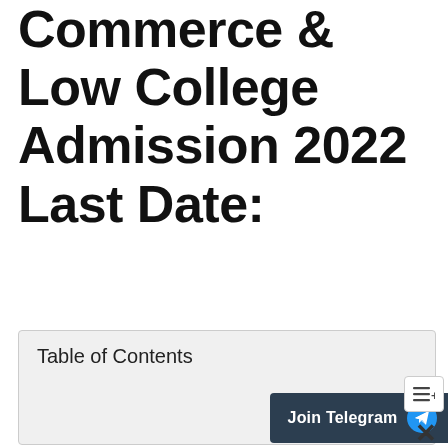Commerce & Low College Admission 2022 Last Date:
Table of Contents
[Figure (screenshot): Join Telegram button with Telegram icon on dark background]
[Figure (screenshot): Menu/list icon button]
[Figure (screenshot): Close (X) button]